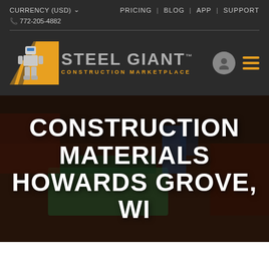CURRENCY (USD)  PRICING | BLOG | APP | SUPPORT  772-205-4882
[Figure (logo): Steel Giant Construction Marketplace logo with robot mascot, yellow/orange diagonal stripes, grey text logo and orange subtitle]
CONSTRUCTION MATERIALS HOWARDS GROVE, WI